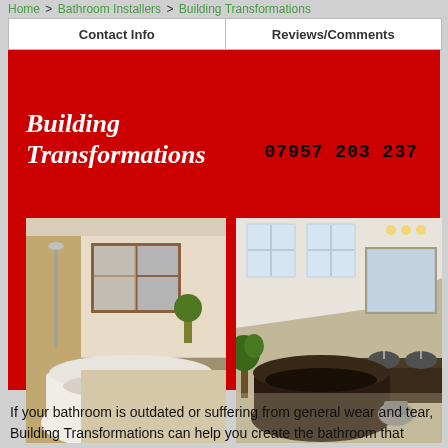Home > Bathroom Installers > Building Transformations
| Contact Info | Reviews/Comments |
| --- | --- |
[Figure (photo): Red banner with 'Building Transformations' company name, phone number 07957 203 237, and two bathroom photos — left showing a corner bathtub with wood window, right showing a dark freestanding tub in an attic bathroom with skylights and double sinks]
If your bathroom is outdated or suffering from general wear and tear, Building Transformations can help you create the bathroom that you've always wanted.
We have a team of highly qualified bathroom installers, who can